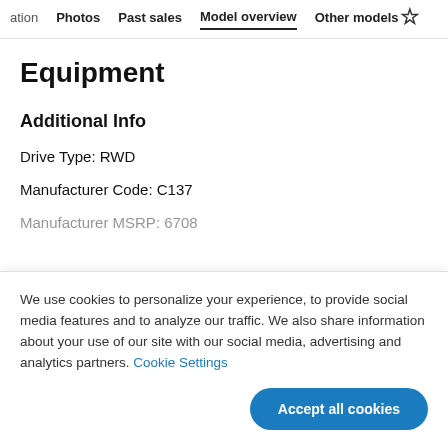ation  Photos  Past sales  Model overview  Other models
Equipment
Additional Info
Drive Type: RWD
Manufacturer Code: C137
Manufacturer MSRP: 6708
We use cookies to personalize your experience, to provide social media features and to analyze our traffic. We also share information about your use of our site with our social media, advertising and analytics partners. Cookie Settings
Accept all cookies